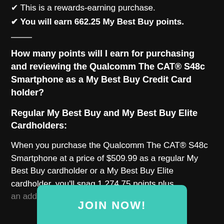✔ This is a rewards-earning purchase.
✔ You will earn 662.25 My Best Buy points.
How many points will I earn for purchasing and reviewing the Qualcomm The CAT® S48c Smartphone as a My Best Buy Credit Card holder?
Regular My Best Buy and My Best Buy Elite Cardholders:
When you purchase the Qualcomm The CAT® S48c Smartphone at a price of $509.99 as a regular My Best Buy cardholder or a My Best Buy Elite cardholder, you'll snag 1,274.75 points plus an additional [points for] writing a review. You [will earn] points that are worth...
[Figure (other): Teal JOIN NOW! button overlay at the bottom of the screen]